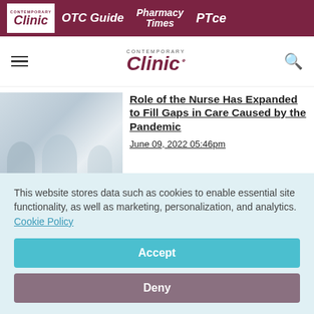Contemporary Clinic | OTC Guide | Pharmacy Times | PTce
[Figure (logo): Contemporary Clinic navigation bar with hamburger menu, logo, and search icon]
Role of the Nurse Has Expanded to Fill Gaps in Care Caused by the Pandemic
June 09, 2022 05:46pm
RHrontline Conversations
This website stores data such as cookies to enable essential site functionality, as well as marketing, personalization, and analytics. Cookie Policy
Accept
Deny